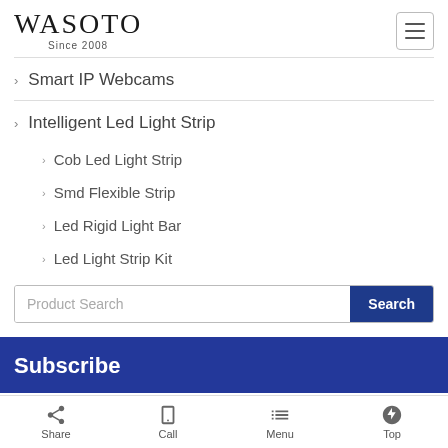WASOTO Since 2008
Smart IP Webcams
Intelligent Led Light Strip
Cob Led Light Strip
Smd Flexible Strip
Led Rigid Light Bar
Led Light Strip Kit
Product Search
Subscribe